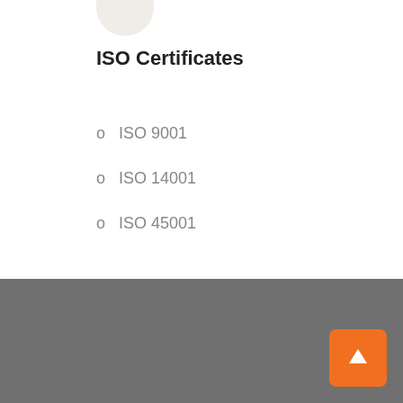[Figure (illustration): Partial circular avatar/icon element at top, light beige background]
ISO Certificates
o  ISO 9001
o  ISO 14001
o  ISO 45001
[Figure (illustration): Orange back-to-top button with upward arrow in bottom right corner over gray footer]